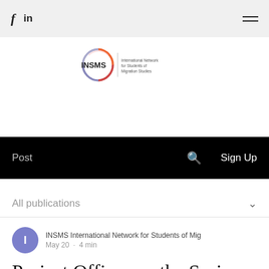f  in  ≡
[Figure (logo): INSMS International Network for Students of Migration Studies logo with circular arc design]
Post   🔍   Sign Up
All publications ∨
INSMS International Network for Students of Mig
May 20 · 4 min
Project Officer on the Syria Emergency Response Task at Catholic Relief